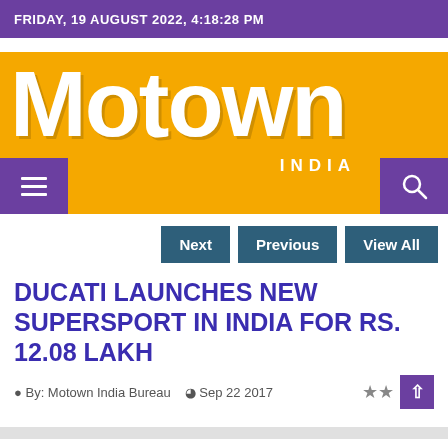FRIDAY, 19 AUGUST 2022, 4:18:28 PM
[Figure (logo): Motown India logo — white bold 'Motown' text with 'INDIA' beneath on orange background]
Next  Previous  View All
DUCATI LAUNCHES NEW SUPERSPORT IN INDIA FOR RS. 12.08 LAKH
By: Motown India Bureau  Sep 22 2017